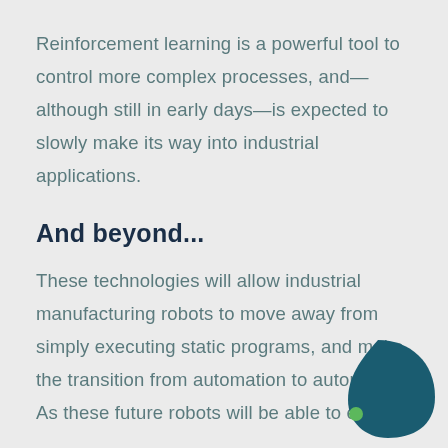Reinforcement learning is a powerful tool to control more complex processes, and— although still in early days—is expected to slowly make its way into industrial applications.
And beyond...
These technologies will allow industrial manufacturing robots to move away from simply executing static programs, and make the transition from automation to autonomy. As these future robots will be able to easily
[Figure (logo): A teal/dark blue bird or abstract shape logo with a small green dot accent, positioned in the bottom right corner]